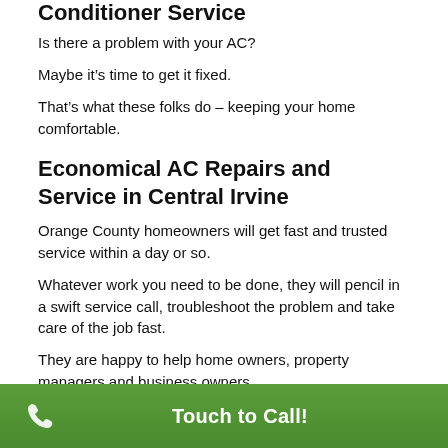Conditioner Service
Is there a problem with your AC?
Maybe it’s time to get it fixed.
That’s what these folks do – keeping your home comfortable.
Economical AC Repairs and Service in Central Irvine
Orange County homeowners will get fast and trusted service within a day or so.
Whatever work you need to be done, they will pencil in a swift service call, troubleshoot the problem and take care of the job fast.
They are happy to help home owners, property managers and business owners.
Touch to Call!